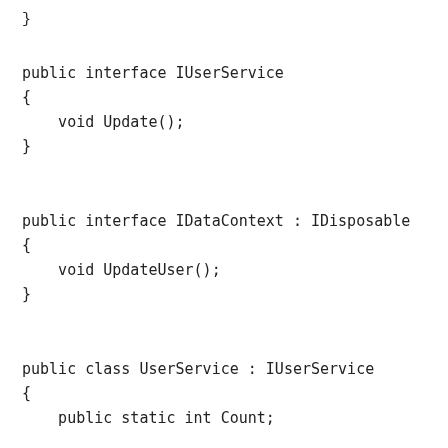}
public interface IUserService
{
    void Update();
}
public interface IDataContext : IDisposable
{
    void UpdateUser();
}
public class UserService : IUserService
{
    public static int Count;